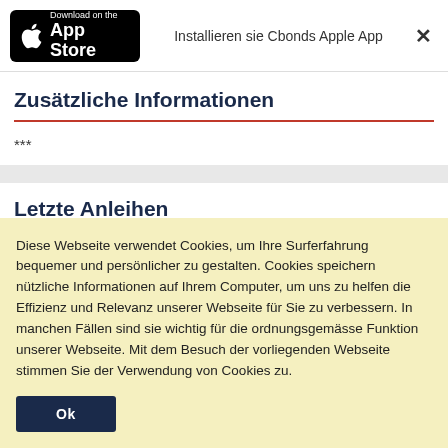Installieren sie Cbonds Apple App
Zusätzliche Informationen
***
Letzte Anleihen
Diese Webseite verwendet Cookies, um Ihre Surferfahrung bequemer und persönlicher zu gestalten. Cookies speichern nützliche Informationen auf Ihrem Computer, um uns zu helfen die Effizienz und Relevanz unserer Webseite für Sie zu verbessern. In manchen Fällen sind sie wichtig für die ordnungsgemässe Funktion unserer Webseite. Mit dem Besuch der vorliegenden Webseite stimmen Sie der Verwendung von Cookies zu.